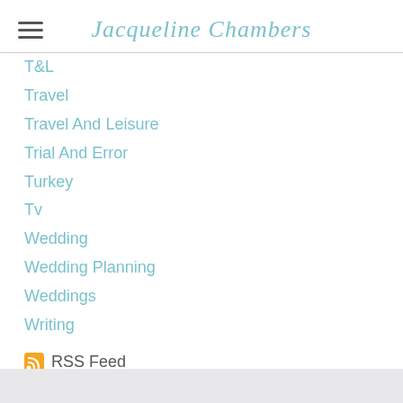Jacqueline Chambers
T&L
Travel
Travel And Leisure
Trial And Error
Turkey
Tv
Wedding
Wedding Planning
Weddings
Writing
RSS Feed